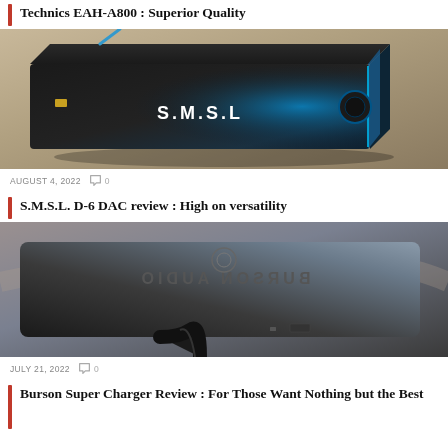Technics EAH-A800 : Superior Quality
[Figure (photo): Black S.M.S.L. DAC device with blue accent lighting and knob on a light-colored surface]
AUGUST 4, 2022   0
S.M.S.L. D-6 DAC review : High on versatility
[Figure (photo): Burson Audio Super Charger device showing reversed text on gray metal surface with black cable]
JULY 21, 2022   0
Burson Super Charger Review : For Those Want Nothing but the Best